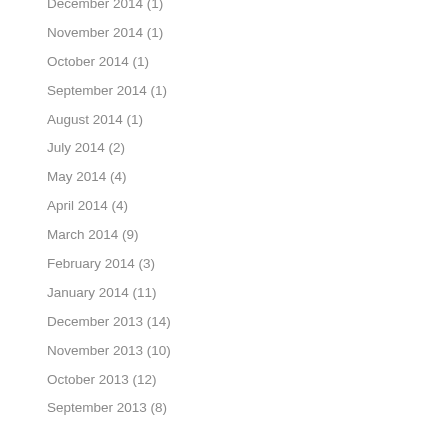December 2014 (1)
November 2014 (1)
October 2014 (1)
September 2014 (1)
August 2014 (1)
July 2014 (2)
May 2014 (4)
April 2014 (4)
March 2014 (9)
February 2014 (3)
January 2014 (11)
December 2013 (14)
November 2013 (10)
October 2013 (12)
September 2013 (8)